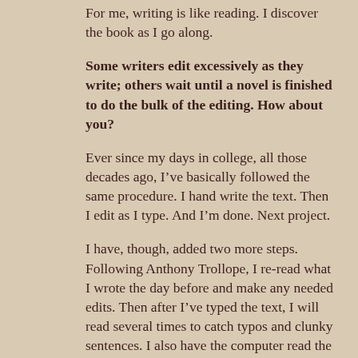For me, writing is like reading. I discover the book as I go along.
Some writers edit excessively as they write; others wait until a novel is finished to do the bulk of the editing. How about you?
Ever since my days in college, all those decades ago, I’ve basically followed the same procedure. I hand write the text. Then I edit as I type. And I’m done. Next project.
I have, though, added two more steps. Following Anthony Trollope, I re-read what I wrote the day before and make any needed edits. Then after I’ve typed the text, I will read several times to catch typos and clunky sentences. I also have the computer read the text to me as I follow along. I catch a lot of typos that way, because the computer